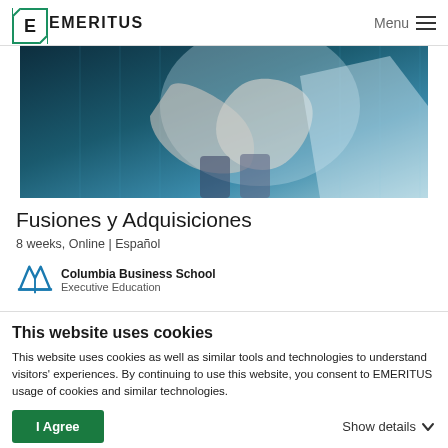EMERITUS | Menu
[Figure (photo): Hero image showing two people shaking hands with a digital city skyline overlay in teal/blue tones]
Fusiones y Adquisiciones
8 weeks, Online | Español
[Figure (logo): Columbia Business School Executive Education logo with a blue '4' symbol]
This website uses cookies
This website uses cookies as well as similar tools and technologies to understand visitors' experiences. By continuing to use this website, you consent to EMERITUS usage of cookies and similar technologies.
I Agree | Show details